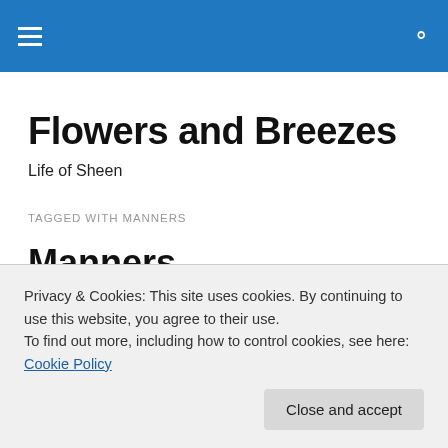Flowers and Breezes
Flowers and Breezes
Life of Sheen
TAGGED WITH MANNERS
Manners
Good manners are the mark of royalty; that's what I was
Privacy & Cookies: This site uses cookies. By continuing to use this website, you agree to their use.
To find out more, including how to control cookies, see here: Cookie Policy
something must be very wrong with me if every time I take